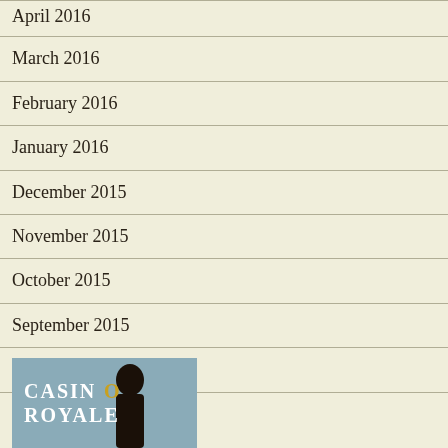April 2016
March 2016
February 2016
January 2016
December 2015
November 2015
October 2015
September 2015
July 2015
May 2015
[Figure (photo): Casino Royale movie cover/image showing silhouette figure with text CASINO ROYALE]